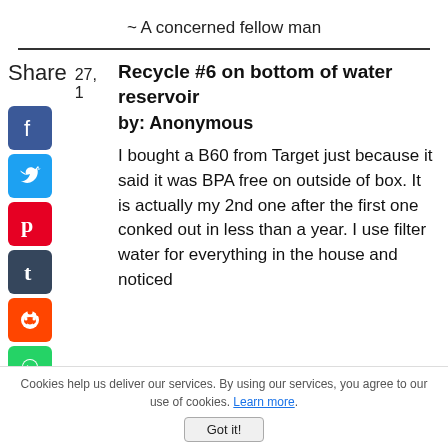~ A concerned fellow man
Recycle #6 on bottom of water reservoir
by: Anonymous
I bought a B60 from Target just because it said it was BPA free on outside of box. It is actually my 2nd one after the first one conked out in less than a year. I use filter water for everything in the house and noticed
Cookies help us deliver our services. By using our services, you agree to our use of cookies. Learn more. Got it!